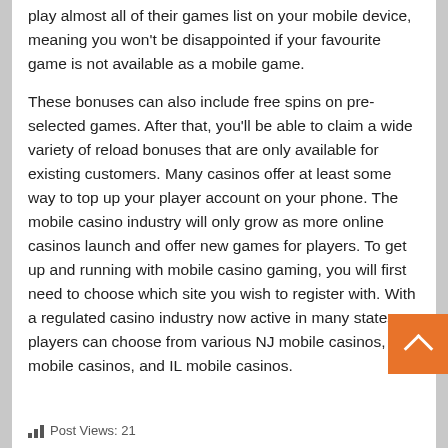play almost all of their games list on your mobile device, meaning you won't be disappointed if your favourite game is not available as a mobile game.
These bonuses can also include free spins on pre-selected games. After that, you'll be able to claim a wide variety of reload bonuses that are only available for existing customers. Many casinos offer at least some way to top up your player account on your phone. The mobile casino industry will only grow as more online casinos launch and offer new games for players. To get up and running with mobile casino gaming, you will first need to choose which site you wish to register with. With a regulated casino industry now active in many states, players can choose from various NJ mobile casinos, PA mobile casinos, and IL mobile casinos.
Post Views: 21